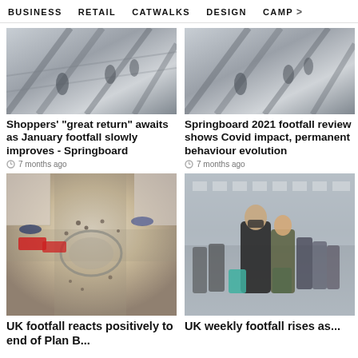BUSINESS   RETAIL   CATWALKS   DESIGN   CAMP  >
[Figure (photo): Aerial/interior escalator or glass ceiling view, grey tones]
Shoppers' "great return" awaits as January footfall slowly improves - Springboard
7 months ago
[Figure (photo): Aerial/interior escalator or glass ceiling view, grey tones]
Springboard 2021 footfall review shows Covid impact, permanent behaviour evolution
7 months ago
[Figure (photo): Aerial view of busy Oxford Street intersection with double-decker buses and shoppers]
UK footfall reacts positively to end of Plan B...
[Figure (photo): Two people wearing masks walking on shopping street carrying teal shopping bags]
UK weekly footfall rises as...